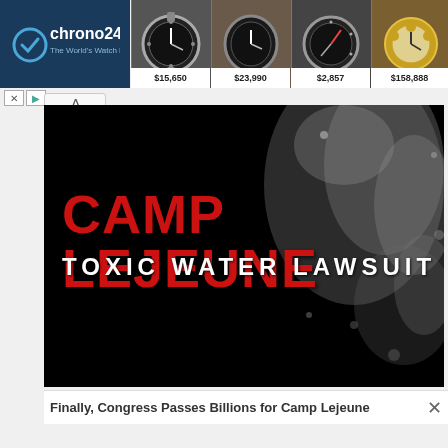[Figure (screenshot): Chrono24 watch marketplace banner ad showing logo and four watches with prices: $15,650, $23,990, $2,857, $158,888]
[Figure (photo): Camp Lejeune Toxic Water Lawsuit advertisement showing bold red CAMP LEJEUNE text and white TOXIC WATER LAWSUIT text on black background with water splash imagery]
Finally, Congress Passes Billions for Camp Lejeune